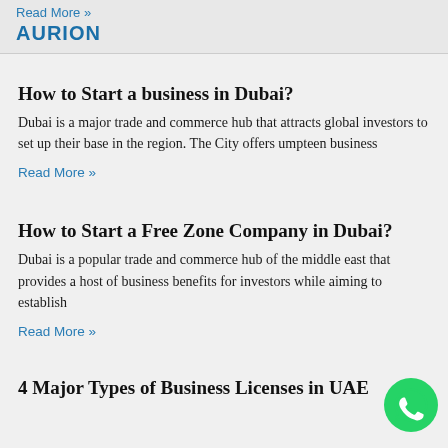Read More »
AURION
How to Start a business in Dubai?
Dubai is a major trade and commerce hub that attracts global investors to set up their base in the region. The City offers umpteen business
Read More »
How to Start a Free Zone Company in Dubai?
Dubai is a popular trade and commerce hub of the middle east that provides a host of business benefits for investors while aiming to establish
Read More »
4 Major Types of Business Licenses in UAE